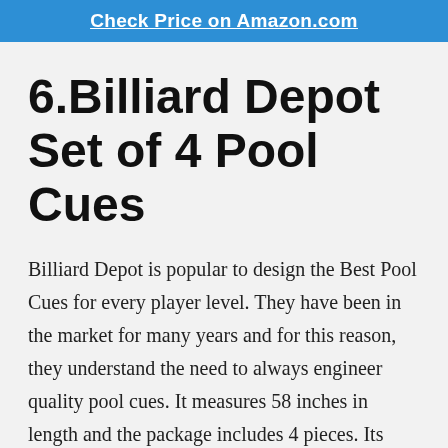Check Price on Amazon.com
6.Billiard Depot Set of 4 Pool Cues
Billiard Depot is popular to design the Best Pool Cues for every player level. They have been in the market for many years and for this reason, they understand the need to always engineer quality pool cues. It measures 58 inches in length and the package includes 4 pieces. Its unique design makes it suitable for residential use. Moreover, it is reliable especially when it comes to performance. Exclusively, it has 13mm leather cue tips to